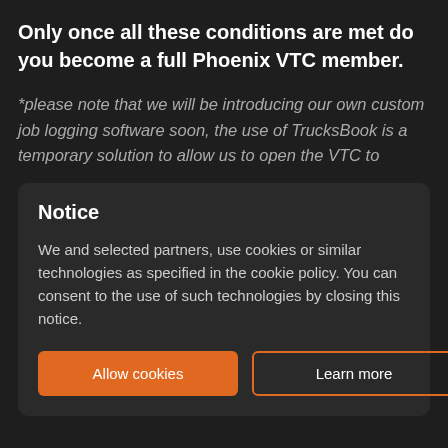Only once all these conditions are met do you become a full Phoenix VTC member.
*please note that we will be introducing our own custom job logging software soon, the use of TrucksBook is a temporary solution to allow us to open the VTC to
Notice
We and selected partners, use cookies or similar technologies as specified in the cookie policy. You can consent to the use of such technologies by closing this notice.